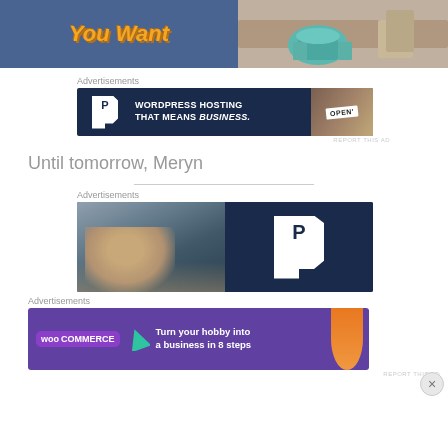[Figure (photo): Top left: blue background with retro orange italic text 'You Want'. Top right: room scene with teal armchair and storage baskets.]
Advertisements
[Figure (screenshot): WordPress hosting advertisement banner: dark navy background with P logo, text 'WORDPRESS HOSTING THAT MEANS BUSINESS.' and photo of an OPEN sign.]
REPORT THIS AD
Until tomorrow, Meryn
Advertisements
[Figure (screenshot): WordPress/Pressable advertisement banner: left half shows person looking through window, right half is dark navy with large P logo.]
Advertisements
[Figure (screenshot): WooCommerce advertisement: purple background with WooCommerce logo, green triangle, text 'Turn your hobby into a business in 8 steps', orange circle decoration.]
REPORT THIS AD